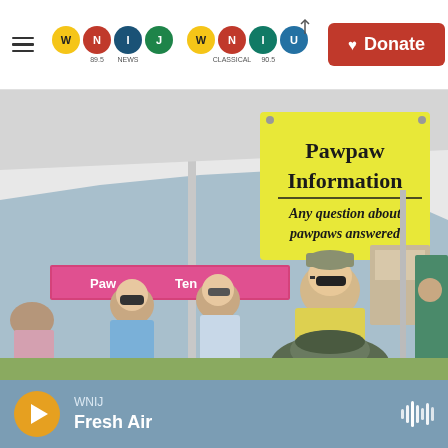WNIJ WNIU — 89.5 NEWS CLASSICAL 90.5 — Donate
[Figure (photo): Outdoor festival tent scene with a yellow 'Pawpaw Information — Any question about pawpaws answered' sign. Several people are talking beneath the tent, including two women in sunglasses and a man in a yellow shirt wearing a cap.]
WNIJ — Fresh Air